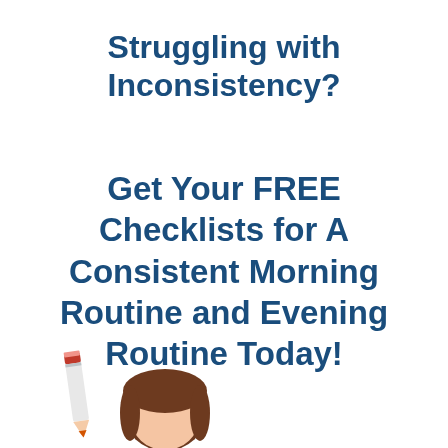Struggling with Inconsistency?
Get Your FREE Checklists for A Consistent Morning Routine and Evening Routine Today!
[Figure (illustration): Partial illustration showing a red pencil and a child's head with brown hair at the bottom of the page]